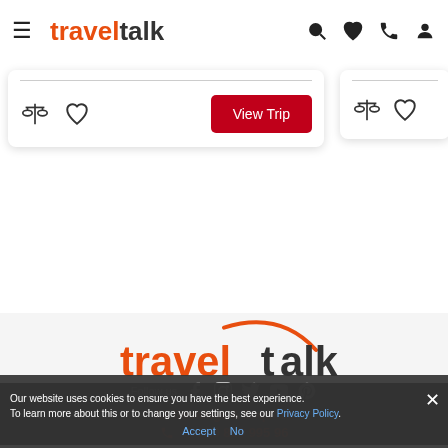traveltalk
[Figure (screenshot): Partial travel card with View Trip button, compare and heart icons]
[Figure (logo): Traveltalk logo with orange arc in footer]
Follow us
Our website uses cookies to ensure you have the best experience. To learn more about this or to change your settings, see our Privacy Policy.
All Bookings & Enquires
+44 20 809 995 96